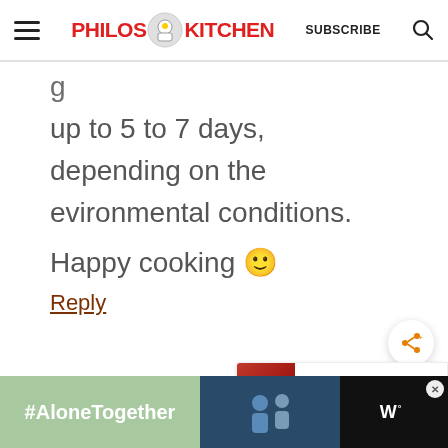Philos Kitchen — SUBSCRIBE
up to 5 to 7 days, depending on the evironmental conditions.
Happy cooking 🙂
Reply
[Figure (other): Share button (circular white button with orange share icon)]
[Figure (other): What's Next widget showing HOMEMADE SUN-DRIED... with a thumbnail of dried tomatoes]
[Figure (other): Ad banner at bottom: #AloneTogether with photo of people and TV logo, dark background]